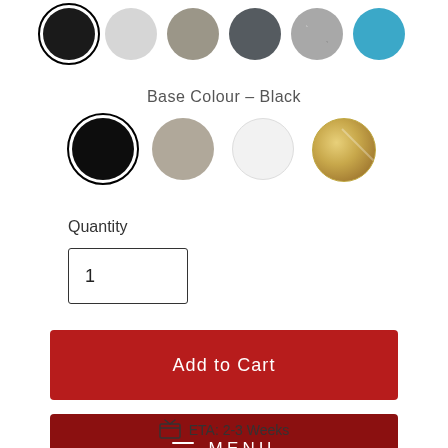[Figure (other): Row of 6 color swatches (circles): black (selected), light gray, taupe/olive, dark gray, concrete/speckled, teal]
Base Colour – Black
[Figure (other): Row of 4 color swatches (circles): black (selected), taupe/beige, white, gold metallic]
Quantity
1
Add to Cart
MENU
ETA: 2-3 Weeks